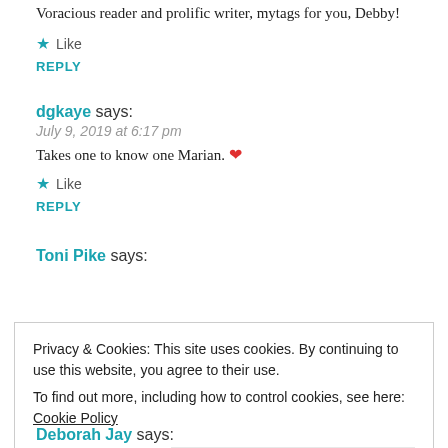Voracious reader and prolific writer, mytags for you, Debby!
★ Like
REPLY
dgkaye says:
July 9, 2019 at 6:17 pm
Takes one to know one Marian. ❤
★ Like
REPLY
Toni Pike says:
Privacy & Cookies: This site uses cookies. By continuing to use this website, you agree to their use.
To find out more, including how to control cookies, see here: Cookie Policy
Close and accept
Deborah Jay says: